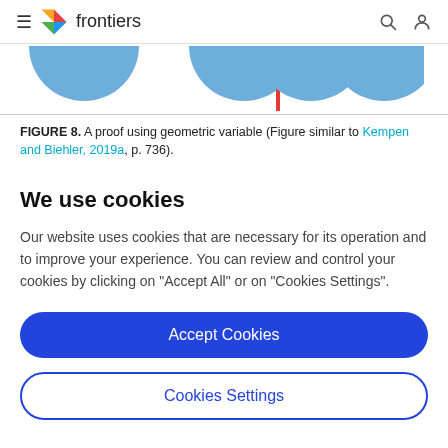frontiers
[Figure (illustration): Partial view of blue circles (geometric variable proof figure) with a red vertical line marker, similar to Figure 8 from Kempen and Biehler 2019a]
FIGURE 8. A proof using geometric variable (Figure similar to Kempen and Biehler, 2019a, p. 736).
We use cookies
Our website uses cookies that are necessary for its operation and to improve your experience. You can review and control your cookies by clicking on "Accept All" or on "Cookies Settings".